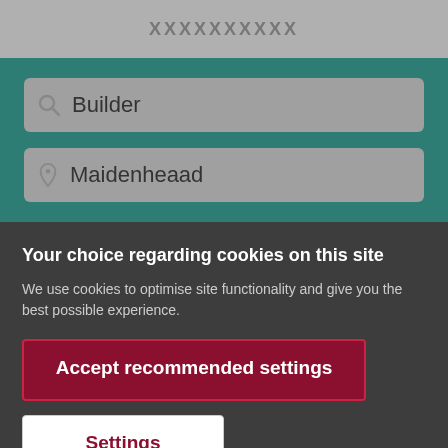[Figure (screenshot): Top grey bar with partially visible website header logo text]
[Figure (screenshot): Teal/dark green search interface with two input fields: 'Builder' search box and 'Maidenheaad' location box]
Your choice regarding cookies on this site
We use cookies to optimise site functionality and give you the best possible experience.
Accept recommended settings
Settings